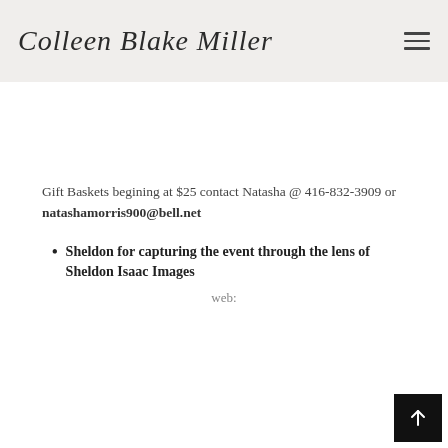Colleen Blake Miller
Gift Baskets begining at $25 contact Natasha @ 416-832-3909 or natashamorris900@bell.net
Sheldon for capturing the event through the lens of Sheldon Isaac Images
web: